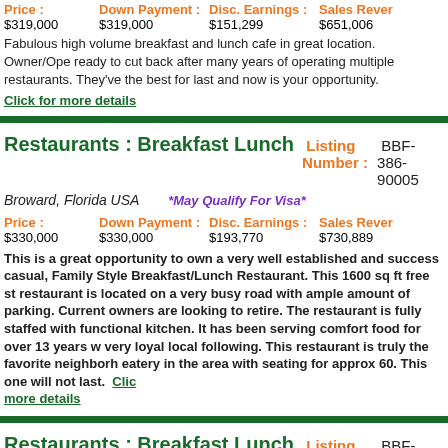Price : $319,000   Down Payment : $319,000   Disc. Earnings : $151,299   Sales Revenue : $651,006
Fabulous high volume breakfast and lunch cafe in great location. Owner/Ope ready to cut back after many years of operating multiple restaurants. They've the best for last and now is your opportunity.
Click for more details
Restaurants : Breakfast Lunch   Listing Number : BBF-386-90005
Broward, Florida USA   *May Qualify For Visa*
Price : $330,000   Down Payment : $330,000   Disc. Earnings : $193,770   Sales Revenue : $730,889
This is a great opportunity to own a very well established and success casual, Family Style Breakfast/Lunch Restaurant. This 1600 sq ft free st restaurant is located on a very busy road with ample amount of parking. Current owners are looking to retire. The restaurant is fully staffed with functional kitchen. It has been serving comfort food for over 13 years w very loyal local following. This restaurant is truly the favorite neighborh eatery in the area with seating for approx 60. This one will not last. Click more details
Restaurants : Breakfast Lunch   Listing Number : BBF-249-01091
Broward, Florida USA   *May Qualify For Visa*
Price : $350,000   Down Payment : $350,000   Disc. Earnings : $97,440   Sales Revenue : $353,723
Charming Cafe that has been in business for over 20 years. Located near a